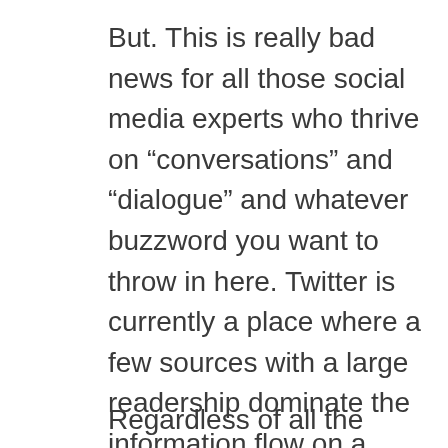But. This is really bad news for all those social media experts who thrive on “conversations” and “dialogue” and whatever buzzword you want to throw in here. Twitter is currently a place where a few sources with a large readership dominate the information flow on a topic. (some people call that ESPN or CNN) I guess in general we could call the current Twitter a broadcasting system.
Regardless of all the lurkers, followers,